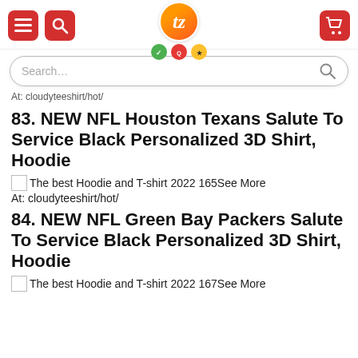[Figure (screenshot): Website header with hamburger menu icon, search icon (red buttons), center logo (orange circle with 'tz'), quality badges, and red cart button on right]
[Figure (screenshot): Search bar with placeholder text 'Search...' and magnifier icon]
At: cloudyteeshirt/hot/
83. NEW NFL Houston Texans Salute To Service Black Personalized 3D Shirt, Hoodie
The best Hoodie and T-shirt 2022 165See More
At: cloudyteeshirt/hot/
84. NEW NFL Green Bay Packers Salute To Service Black Personalized 3D Shirt, Hoodie
The best Hoodie and T-shirt 2022 167See More